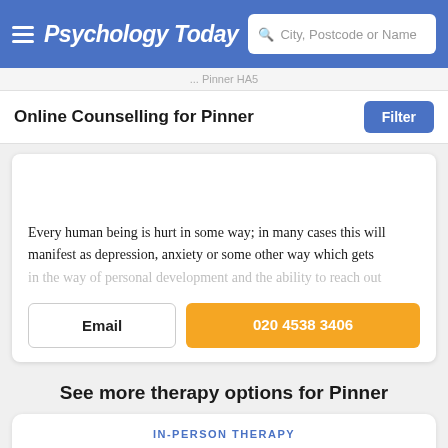Psychology Today | City, Postcode or Name
... Pinner HA5
Online Counselling for Pinner
Every human being is hurt in some way; in many cases this will manifest as depression, anxiety or some other way which gets in the way of personal development and the ability to reach out
Email | 020 4538 3406
See more therapy options for Pinner
IN-PERSON THERAPY
[Figure (illustration): Two people sitting on a couch in a therapy session, with a plant in the background]